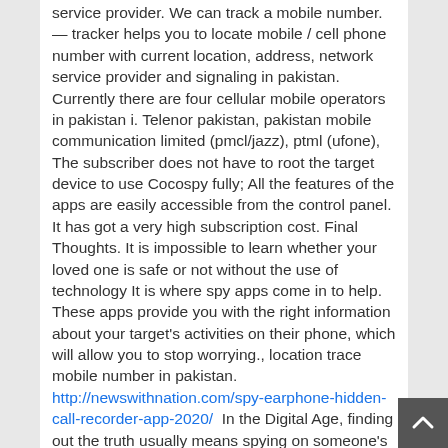service provider. We can track a mobile number. — tracker helps you to locate mobile / cell phone number with current location, address, network service provider and signaling in pakistan. Currently there are four cellular mobile operators in pakistan i. Telenor pakistan, pakistan mobile communication limited (pmcl/jazz), ptml (ufone),
The subscriber does not have to root the target device to use Cocospy fully; All the features of the apps are easily accessible from the control panel. It has got a very high subscription cost. Final Thoughts. It is impossible to learn whether your loved one is safe or not without the use of technology It is where spy apps come in to help. These apps provide you with the right information about your target's activities on their phone, which will allow you to stop worrying., location trace mobile number in pakistan.
http://newswithnation.com/spy-earphone-hidden-call-recorder-app-2020/  In the Digital Age, finding out the truth usually means spying on someone's phone That's where most of the hidden activities happen. It's definitely cheaper than hiring a private eye to follow them around.,